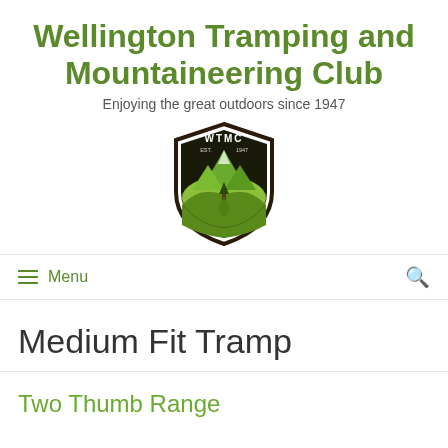Wellington Tramping and Mountaineering Club
Enjoying the great outdoors since 1947
[Figure (logo): WTMC shield logo with mountains, tree and path, EST. 1947]
≡ Menu
Medium Fit Tramp
Two Thumb Range